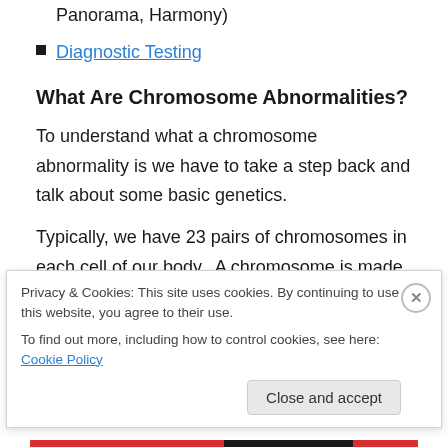Panorama, Harmony)
Diagnostic Testing
What Are Chromosome Abnormalities?
To understand what a chromosome abnormality is we have to take a step back and talk about some basic genetics.
Typically, we have 23 pairs of chromosomes in each cell of our body.  A chromosome is made up of tightly wound DNA and can be thought of as a genetic blue print that
Privacy & Cookies: This site uses cookies. By continuing to use this website, you agree to their use.
To find out more, including how to control cookies, see here: Cookie Policy